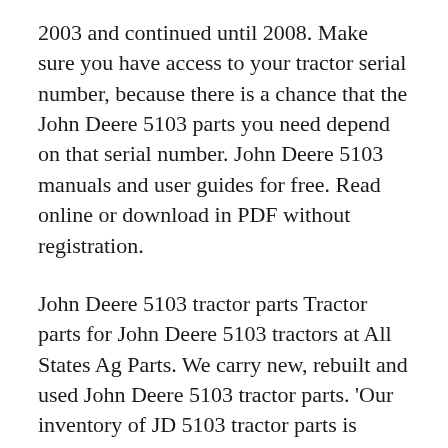2003 and continued until 2008. Make sure you have access to your tractor serial number, because there is a chance that the John Deere 5103 parts you need depend on that serial number. John Deere 5103 manuals and user guides for free. Read online or download in PDF without registration.
John Deere 5103 tractor parts Tractor parts for John Deere 5103 tractors at All States Ag Parts. We carry new, rebuilt and used John Deere 5103 tractor parts. 'Our inventory of JD 5103 tractor parts is always changing. If the part you need is not listed online, please call toll-free 877-530-4430. Save money with rebuilt and used John Deere 5103 John Deere started producing the